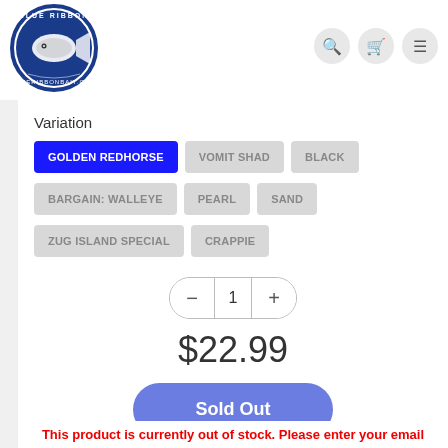[Figure (logo): Blue Ribbon Bait circular logo with fish illustration]
Variation
GOLDEN REDHORSE (selected/active)
VOMIT SHAD
BLACK
BARGAIN: WALLEYE
PEARL
SAND
ZUG ISLAND SPECIAL
CRAPPIE
1
$22.99
Sold Out
This product is currently out of stock. Please enter your email